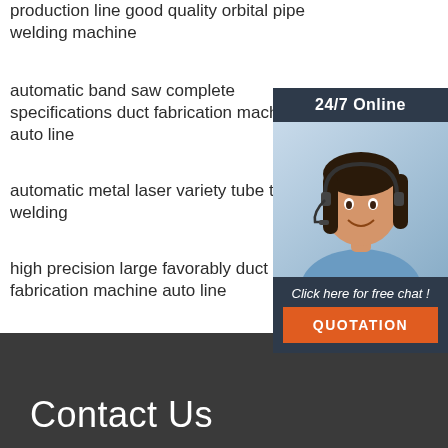production line good quality orbital pipe welding machine
automatic band saw complete specifications duct fabrication machine auto line
automatic metal laser variety tube tu welding
high precision large favorably duct fabrication machine auto line
china new product complete specifications tube fabrication production line
[Figure (photo): Customer service representative (woman with headset) with 24/7 Online chat widget, including 'Click here for free chat!' text and orange QUOTATION button]
Contact Us